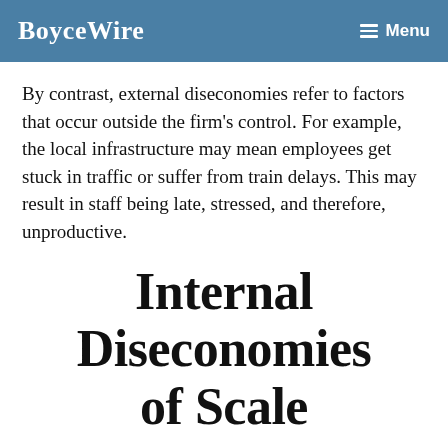BoyceWire   Menu
By contrast, external diseconomies refer to factors that occur outside the firm’s control. For example, the local infrastructure may mean employees get stuck in traffic or suffer from train delays. This may result in staff being late, stressed, and therefore, unproductive.
Internal Diseconomies of Scale